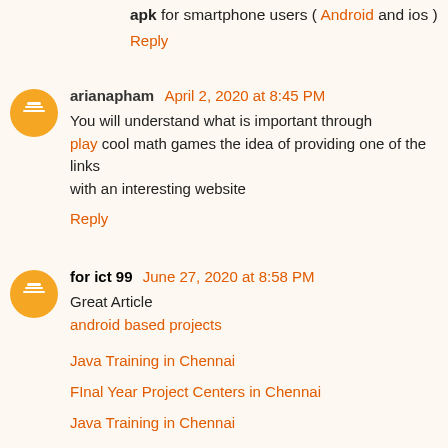apk for smartphone users ( Android and ios )
Reply
arianapham  April 2, 2020 at 8:45 PM
You will understand what is important through play cool math games the idea of providing one of the links with an interesting website
Reply
for ict 99  June 27, 2020 at 8:58 PM
Great Article
android based projects
Java Training in Chennai
FInal Year Project Centers in Chennai
Java Training in Chennai